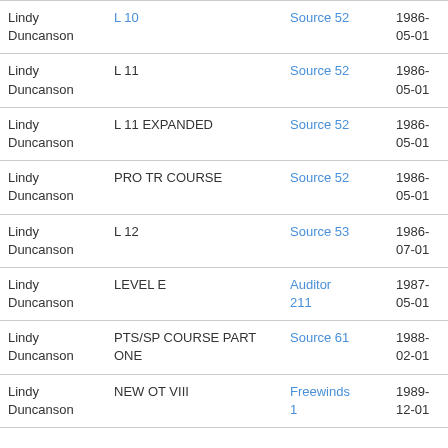| Lindy Duncanson | L 10 | Source 52 | 1986-05-01 |
| Lindy Duncanson | L 11 | Source 52 | 1986-05-01 |
| Lindy Duncanson | L 11 EXPANDED | Source 52 | 1986-05-01 |
| Lindy Duncanson | PRO TR COURSE | Source 52 | 1986-05-01 |
| Lindy Duncanson | L 12 | Source 53 | 1986-07-01 |
| Lindy Duncanson | LEVEL E | Auditor 211 | 1987-05-01 |
| Lindy Duncanson | PTS/SP COURSE PART ONE | Source 61 | 1988-02-01 |
| Lindy Duncanson | NEW OT VIII | Freewinds 1 | 1989-12-01 |